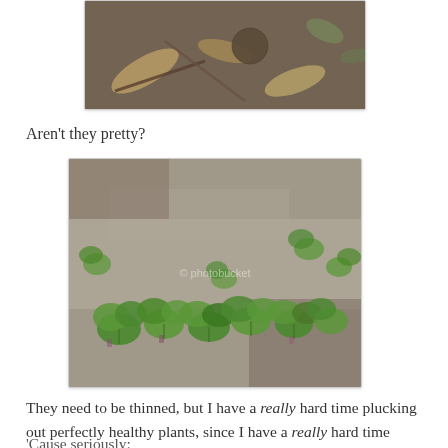[Figure (photo): Partial photo at top of page showing soil, dried leaves, and a dirt clump — top portion of a garden bed photo]
Aren't they pretty?
[Figure (photo): Photo of young green seedlings (likely radishes or similar brassica) growing in grey/brown soil, with a photobucket watermark visible]
They need to be thinned, but I have a really hard time plucking out perfectly healthy plants, since I have a really hard time getting anything to survive seedlinghood anyway!
'Cause seriously: